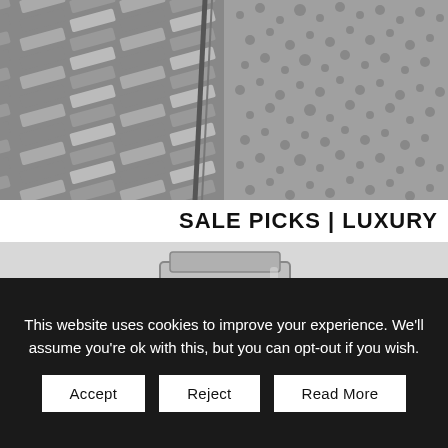[Figure (photo): Black and white split image: left side shows stacked rectangular metal or wooden slats/blinds at an angle with a diagonal pole/rod; right side shows close-up of dense grass or carpet texture.]
SALE PICKS | LUXURY
[Figure (photo): Black and white photo of a stainless steel binocular or telescope viewer on a stand, photographed against a light outdoor background near water.]
This website uses cookies to improve your experience. We'll assume you're ok with this, but you can opt-out if you wish.
Accept
Reject
Read More